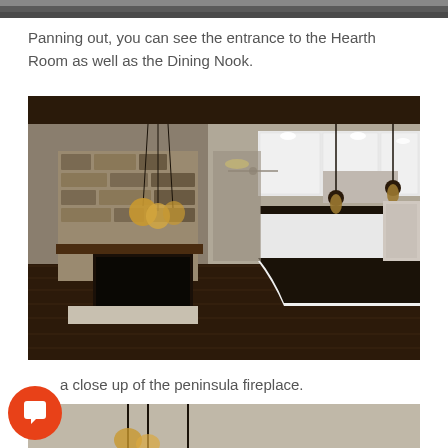[Figure (photo): Top portion of a room photo, cropped at top of page]
Panning out, you can see the entrance to the Hearth Room as well as the Dining Nook.
[Figure (photo): Interior photo of an open-plan home showing a stone peninsula fireplace on the left, dark wood floors, and a white kitchen with dark granite countertops and pendant lights on the right]
a close up of the peninsula fireplace.
[Figure (photo): Bottom portion of another interior photo showing pendant lights, partially visible at bottom of page]